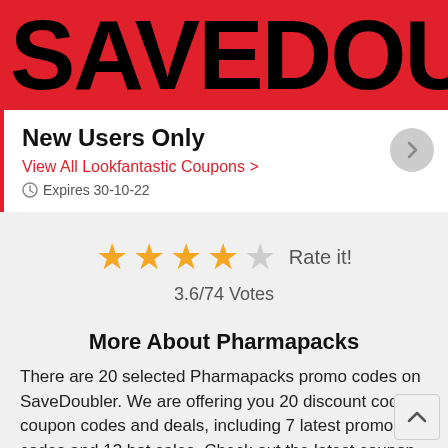SAVEDOUB
New Users Only
View All Lookfantastic Coupons >
Expires 30-10-22
[Figure (other): Star rating: 4 filled stars and 1 empty star. Label: Rate it!]
3.6/74 Votes
More About Pharmapacks
There are 20 selected Pharmapacks promo codes on SaveDoubler. We are offering you 20 discount codes, coupon codes and deals, including 7 latest promo codes and 13 hot sales. Check out the latest coupon for Pharmapacks: Get Up To 20% Off Enfamom Prenatal Daily Gummy Multivita… Join other users and spend much less money with the amazing Pharmapacks promo codes which are highly